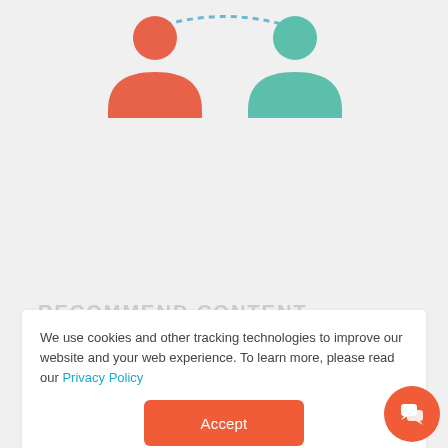[Figure (illustration): Two person icons connected by a dashed arc. Left person icon is orange/red, right person icon is teal/green. Background is light gray.]
We use cookies and other tracking technologies to improve our website and your web experience. To learn more, please read our Privacy Policy
[Figure (other): Accept button - orange rounded rectangle with white text 'Accept']
[Figure (other): Orange circular chat/support button in bottom right corner with white chat icon]